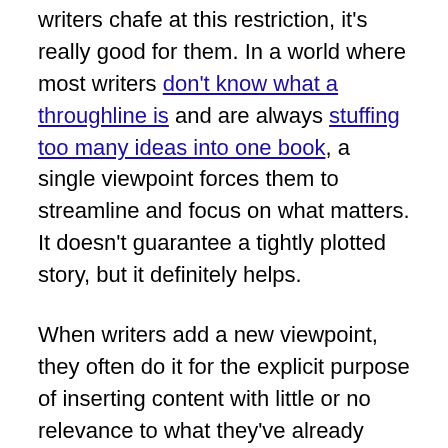writers chafe at this restriction, it's really good for them. In a world where most writers don't know what a throughline is and are always stuffing too many ideas into one book, a single viewpoint forces them to streamline and focus on what matters. It doesn't guarantee a tightly plotted story, but it definitely helps.
When writers add a new viewpoint, they often do it for the explicit purpose of inserting content with little or no relevance to what they've already written. They might even jump to an entirely different continent to follow characters that have no practical means of interacting with the main character anytime soon, such as the Daenerys